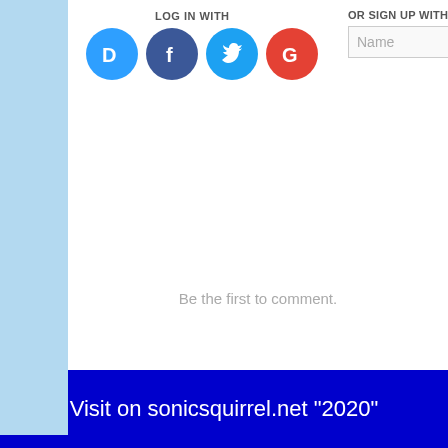LOG IN WITH
[Figure (screenshot): Social login icons: Disqus (blue D), Facebook (dark blue F), Twitter (light blue bird), Google (red G) in circular icons]
OR SIGN UP WITH DISQUS
Name
Be the first to comment.
Subscribe   Add Disqus to your site   Do Not Sell My
RELATED RELEASES
[SU004]   JANUARY RECORDIN...
Visit on sonicsquirrel.net "2020"